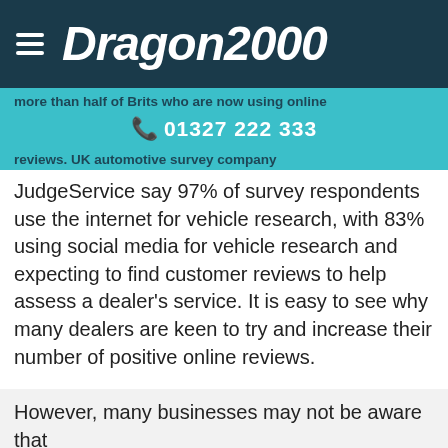Dragon2000 | 01327 222 333
more than half of Brits who are now using online reviews. UK automotive survey company JudgeService say 97% of survey respondents use the internet for vehicle research, with 83% using social media for vehicle research and expecting to find customer reviews to help assess a dealer’s service. It is easy to see why many dealers are keen to try and increase their number of positive online reviews.
However, many businesses may not be aware that
This website uses cookies to improve your experience. Accept to allow all cookies, or you can find out more information here: Review Cookies  Accept